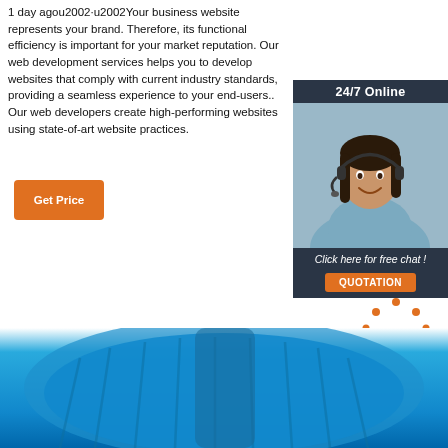1 day agou2002·u2002Your business website represents your brand. Therefore, its functional efficiency is important for your market reputation. Our web development services helps you to develop websites that comply with current industry standards, providing a seamless experience to your end-users.. Our web developers create high-performing websites using state-of-art website practices.
[Figure (infographic): Orange 'Get Price' button]
[Figure (infographic): 24/7 Online live chat widget with woman wearing headset, 'Click here for free chat!' text and orange QUOTATION button]
[Figure (logo): TOP icon with orange dotted arc above text]
[Figure (photo): Blue ribbed object at the bottom of the page]